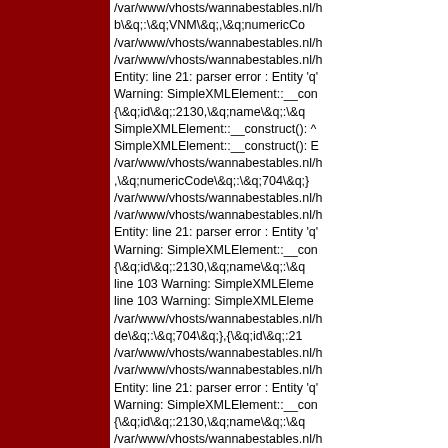/var/www/vhosts/wannabestables.nl/h b\&q;:\&q;VNM\&q;,\&q;numericCo /var/www/vhosts/wannabestables.nl/h /var/www/vhosts/wannabestables.nl/h Entity: line 21: parser error : Entity 'q' Warning: SimpleXMLElement::__con {\&q;id\&q;:2130,\&q;name\&q;:\&q SimpleXMLElement::__construct(): ^ SimpleXMLElement::__construct(): E /var/www/vhosts/wannabestables.nl/h ,\&q;numericCode\&q;:\&q;704\&q;} /var/www/vhosts/wannabestables.nl/h /var/www/vhosts/wannabestables.nl/h Entity: line 21: parser error : Entity 'q' Warning: SimpleXMLElement::__con {\&q;id\&q;:2130,\&q;name\&q;:\&q line 103 Warning: SimpleXMLEleme line 103 Warning: SimpleXMLEleme /var/www/vhosts/wannabestables.nl/h de\&q;:\&q;704\&q;},{\&q;id\&q;:21 /var/www/vhosts/wannabestables.nl/h /var/www/vhosts/wannabestables.nl/h Entity: line 21: parser error : Entity 'q' Warning: SimpleXMLElement::__con {\&q;id\&q;:2130,\&q;name\&q;:\&q /var/www/vhosts/wannabestables.nl/h